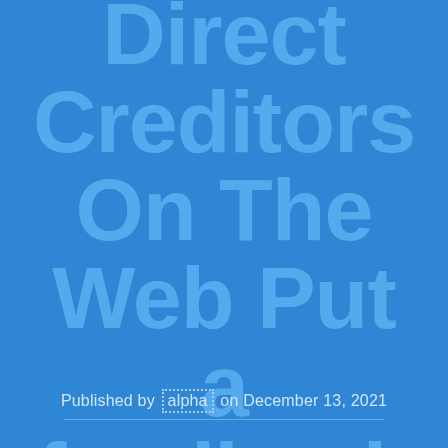Direct Creditors On The Web Put a feedback
Published by alpha on December 13, 2021